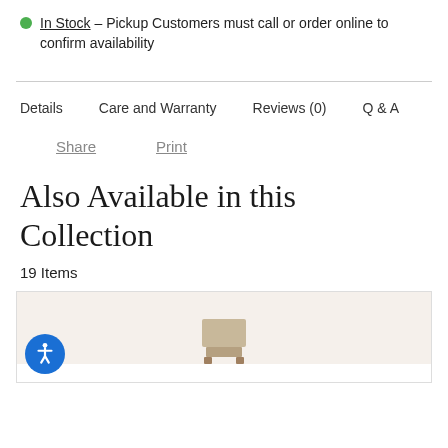In Stock – Pickup Customers must call or order online to confirm availability
Details   Care and Warranty   Reviews (0)   Q & A
Share   Print
Also Available in this Collection
19 Items
[Figure (photo): Partial view of a furniture item (chair) with beige/tan upholstery at the bottom of the page. A blue accessibility button with a person icon is overlaid in the bottom-left corner.]